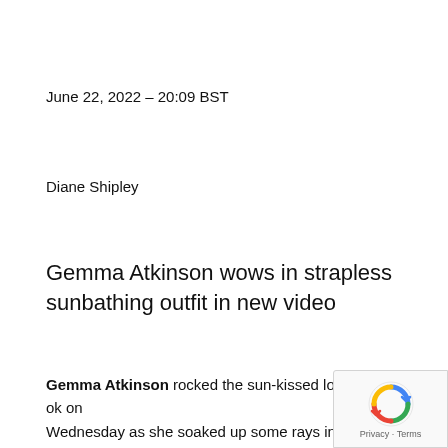June 22, 2022 – 20:09 BST
Diane Shipley
Gemma Atkinson wows in strapless sunbathing outfit in new video
Gemma Atkinson rocked the sun-kissed lo… Wednesday as she soaked up some rays in t… garden of the home she shares with her fianc…